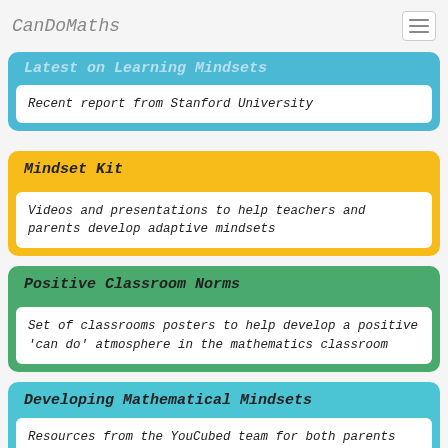CanDoMaths
Latest on Learning Mindsets
Recent report from Stanford University
Mindset Kit
Videos and presentations to help teachers and parents develop adaptive mindsets
Positive Classroom Norms
Set of classrooms posters to help develop a positive 'can do' atmosphere in the mathematics classroom
Developing Mathematical Mindsets
Resources from the YouCubed team for both parents and teachers